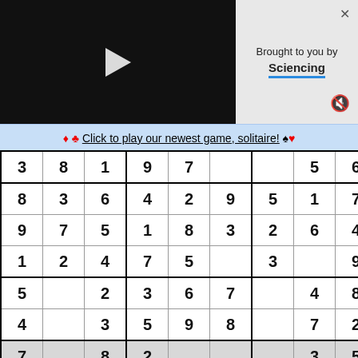[Figure (screenshot): Video player thumbnail with play button on dark background]
Brought to you by Sciencing
♦ ♣ Click to play our newest game, solitaire! ♠ ♥
| 3 | 8 | 1 | 9 | 7 |  |  | 5 | 6 |
| 8 | 3 | 6 | 4 | 2 | 9 | 5 | 1 | 7 |
| 9 | 7 | 5 | 1 | 8 | 3 | 2 | 6 | 4 |
| 1 | 2 | 4 | 7 | 5 |  | 3 |  | 9 |
| 5 |  | 2 | 3 | 6 | 7 |  | 4 | 8 |
| 4 |  | 3 | 5 | 9 | 8 |  | 7 | 2 |
| 7 |  | 8 | 2 |  |  |  | 3 | 5 |